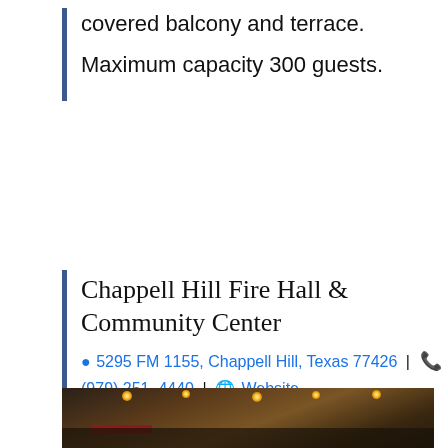covered balcony and terrace. Maximum capacity 300 guests.
Chappell Hill Fire Hall & Community Center
5295 FM 1155, Chappell Hill, Texas 77426 | (979) 251-4440 | Website
[Figure (photo): Interior of Chappell Hill Fire Hall & Community Center, showing a large hall with wooden walls, ceiling lights, and a stage area with speakers and chairs. A performer is visible on stage.]